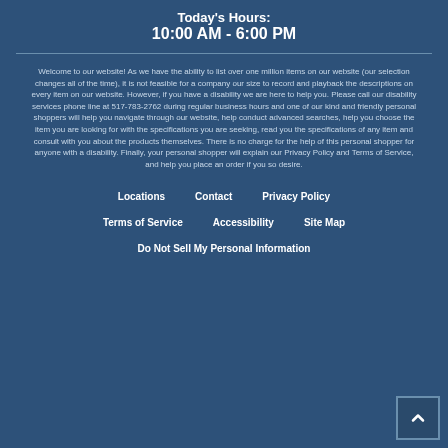Today's Hours:
10:00 AM - 6:00 PM
Welcome to our website! As we have the ability to list over one million items on our website (our selection changes all of the time), it is not feasible for a company our size to record and playback the descriptions on every item on our website. However, if you have a disability we are here to help you. Please call our disability services phone line at 517-783-2762 during regular business hours and one of our kind and friendly personal shoppers will help you navigate through our website, help conduct advanced searches, help you choose the item you are looking for with the specifications you are seeking, read you the specifications of any item and consult with you about the products themselves. There is no charge for the help of this personal shopper for anyone with a disability. Finally, your personal shopper will explain our Privacy Policy and Terms of Service, and help you place an order if you so desire.
Locations
Contact
Privacy Policy
Terms of Service
Accessibility
Site Map
Do Not Sell My Personal Information